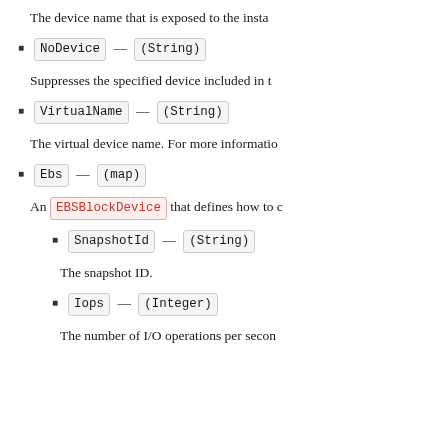The device name that is exposed to the instance.
NoDevice — (String)
Suppresses the specified device included in the block device mapping of the AMI.
VirtualName — (String)
The virtual device name. For more information, see the relevant documentation.
Ebs — (map)
An EBSBlockDevice that defines how to configure the EBS volume.
SnapshotId — (String)
The snapshot ID.
Iops — (Integer)
The number of I/O operations per second (IOPS).